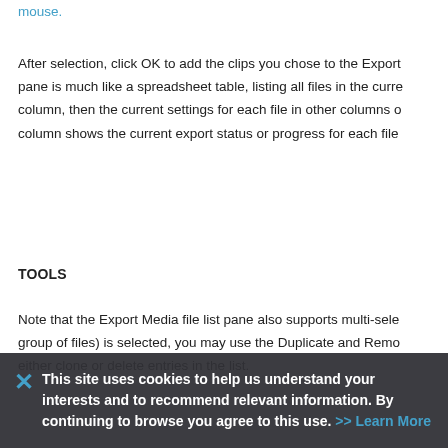mouse.
After selection, click OK to add the clips you chose to the Export pane is much like a spreadsheet table, listing all files in the curre column, then the current settings for each file in other columns o column shows the current export status or progress for each file
TOOLS
Note that the Export Media file list pane also supports multi-sele group of files) is selected, you may use the Duplicate and Remo either clone or delete entries in the list.
[Figure (screenshot): Export Media dialog box screenshot showing dark-themed interface with Export Media title bar]
This site uses cookies to help us understand your interests and to recommend relevant information. By continuing to browse you agree to this use. >> Learn More